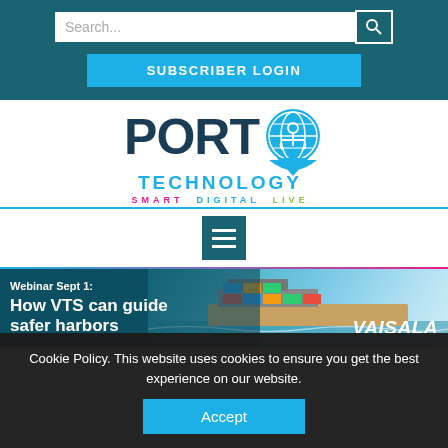Search... [search bar] SUBSCRIBER LOGIN
[Figure (logo): Port Technology logo with location pin icon, tagline SMART DIGITAL LIVE]
[Figure (illustration): Hamburger menu button (three horizontal lines on teal background)]
[Figure (photo): Banner ad: Webinar Sept 1: How VTS can guide safer harbors — VAISALA, showing container ship at sea]
Cookie Policy. This website uses cookies to ensure you get the best experience on our website.
Accept